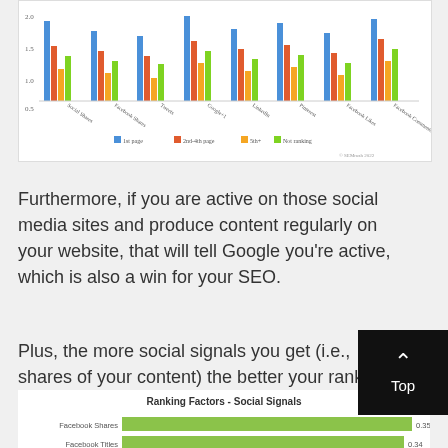[Figure (grouped-bar-chart): Partial grouped bar chart visible at top of page showing colored bars for various ranking factors with a legend]
Furthermore, if you are active on those social media sites and produce content regularly on your website, that will tell Google you’re active, which is also a win for your SEO.
Plus, the more social signals you get (i.e., shares of your content) the better your rankings.
[Figure (bar-chart): Ranking Factors - Social Signals]